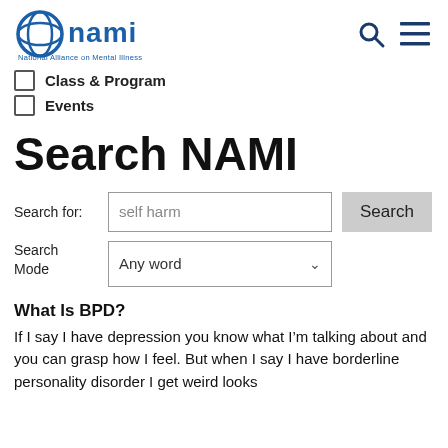[Figure (logo): NAMI (National Alliance on Mental Illness) logo with blue circular icon and blue text]
Class & Program
Events
Search NAMI
Search for: self harm [Search button]
Search Mode: Any word
What Is BPD?
If I say I have depression you know what I'm talking about and you can grasp how I feel. But when I say I have borderline personality disorder I get weird looks and...